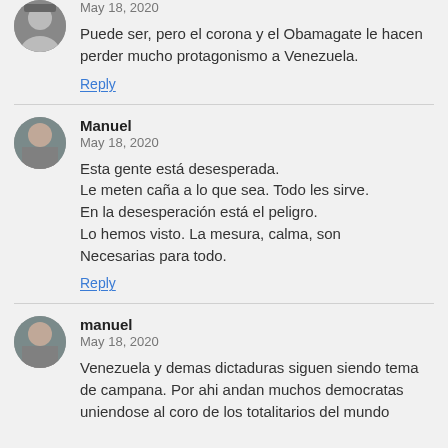[Figure (photo): Partial avatar photo of a person, cropped at top]
May 18, 2020
Puede ser, pero el corona y el Obamagate le hacen perder mucho protagonismo a Venezuela.
Reply
[Figure (photo): Avatar photo of Manuel, a middle-aged man]
Manuel
May 18, 2020
Esta gente está desesperada.
Le meten caña a lo que sea. Todo les sirve.
En la desesperación está el peligro.
Lo hemos visto. La mesura, calma, son
Necesarias para todo.
Reply
[Figure (photo): Avatar photo of manuel, a middle-aged man]
manuel
May 18, 2020
Venezuela y demas dictaduras siguen siendo tema de campana. Por ahi andan muchos democratas uniendose al coro de los totalitarios del mundo